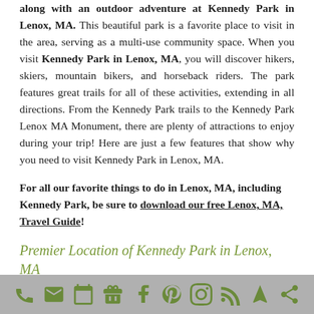along with an outdoor adventure at Kennedy Park in Lenox, MA. This beautiful park is a favorite place to visit in the area, serving as a multi-use community space. When you visit Kennedy Park in Lenox, MA, you will discover hikers, skiers, mountain bikers, and horseback riders. The park features great trails for all of these activities, extending in all directions. From the Kennedy Park trails to the Kennedy Park Lenox MA Monument, there are plenty of attractions to enjoy during your trip! Here are just a few features that show why you need to visit Kennedy Park in Lenox, MA.
For all our favorite things to do in Lenox, MA, including Kennedy Park, be sure to download our free Lenox, MA, Travel Guide!
Premier Location of Kennedy Park in Lenox, MA
Kennedy Park in Lenox, MA, is just five minutes from the city center, giving you the ultimate convenience as well as a
[social media and contact icons]